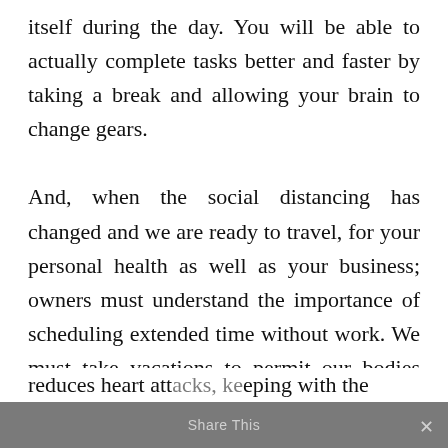itself during the day. You will be able to actually complete tasks better and faster by taking a break and allowing your brain to change gears.

And, when the social distancing has changed and we are ready to travel, for your personal health as well as your business; owners must understand the importance of scheduling extended time without work. We must take vacations to permit our bodies time to rest which reduces heart attacks, keeping with the
Share This ×